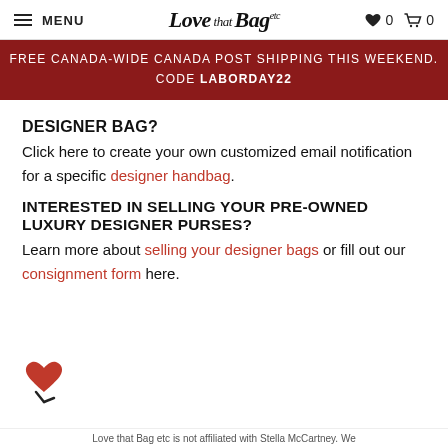MENU | Love that Bag etc | ♥ 0 🛒 0
FREE CANADA-WIDE CANADA POST SHIPPING THIS WEEKEND. CODE LABORDAY22
DESIGNER BAG?
Click here to create your own customized email notification for a specific designer handbag.
INTERESTED IN SELLING YOUR PRE-OWNED LUXURY DESIGNER PURSES?
Learn more about selling your designer bags or fill out our consignment form here.
[Figure (logo): Love that Bag etc logo icon - red heart with stem]
Love that Bag etc is not affiliated with Stella McCartney. We